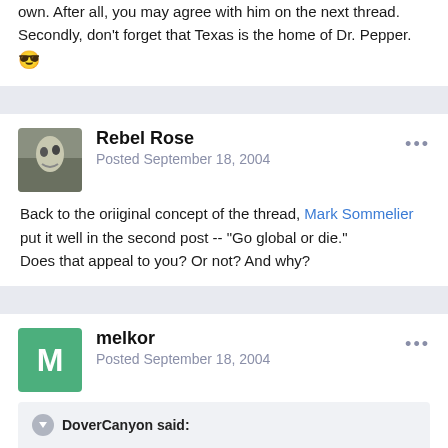own. After all, you may agree with him on the next thread. Secondly, don't forget that Texas is the home of Dr. Pepper. 😎
Rebel Rose
Posted September 18, 2004
Back to the oriiginal concept of the thread, Mark Sommelier put it well in the second post -- "Go global or die."
Does that appeal to you? Or not? And why?
melkor
Posted September 18, 2004
DoverCanyon said:
Back to the oriiginal concept of the thread, Mark Sommelier put it well in the second post -- "Go global or die."
Does that appeal to you? Or not? And why?